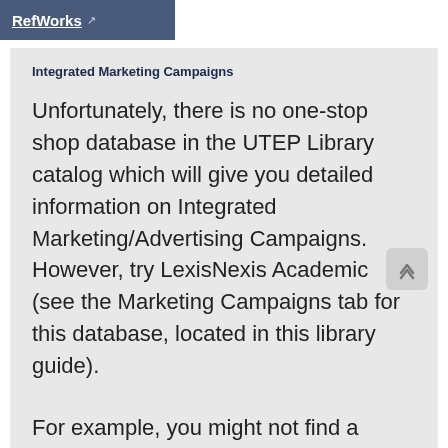RefWorks
Integrated Marketing Campaigns
Unfortunately, there is no one-stop shop database in the UTEP Library catalog which will give you detailed information on Integrated Marketing/Advertising Campaigns. However, try LexisNexis Academic (see the Marketing Campaigns tab for this database, located in this library guide).
For example, you might not find a report with sections which detail: